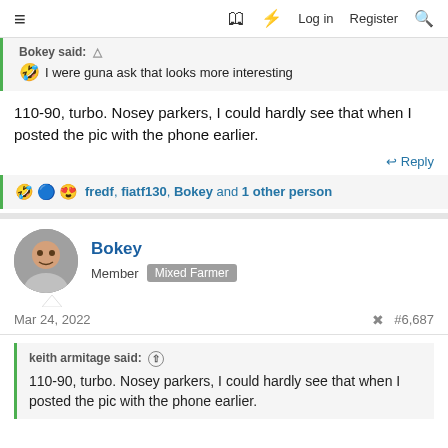≡  🔖 ⚡ Log in  Register  🔍
Bokey said: 🤣 I were guna ask that looks more interesting
110-90, turbo. Nosey parkers, I could hardly see that when I posted the pic with the phone earlier.
↩ Reply
🤣🔵😍 fredf, fiatf130, Bokey and 1 other person
Bokey
Member  Mixed Farmer
Mar 24, 2022  #6,687
keith armitage said: ↑
110-90, turbo. Nosey parkers, I could hardly see that when I posted the pic with the phone earlier.